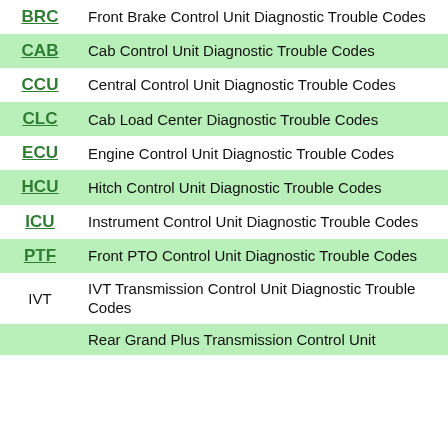| Code | Description |
| --- | --- |
| BRC | Front Brake Control Unit Diagnostic Trouble Codes |
| CAB | Cab Control Unit Diagnostic Trouble Codes |
| CCU | Central Control Unit Diagnostic Trouble Codes |
| CLC | Cab Load Center Diagnostic Trouble Codes |
| ECU | Engine Control Unit Diagnostic Trouble Codes |
| HCU | Hitch Control Unit Diagnostic Trouble Codes |
| ICU | Instrument Control Unit Diagnostic Trouble Codes |
| PTF | Front PTO Control Unit Diagnostic Trouble Codes |
| IVT | IVT Transmission Control Unit Diagnostic Trouble Codes |
| ... | Rear Grand Plus Transmission Control Unit... |